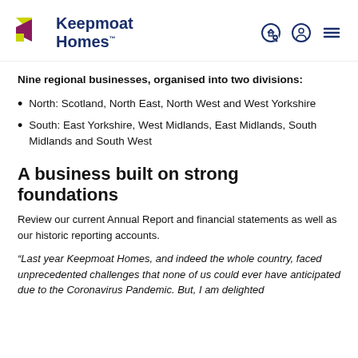Keepmoat Homes
Nine regional businesses, organised into two divisions:
North: Scotland, North East, North West and West Yorkshire
South: East Yorkshire, West Midlands, East Midlands, South Midlands and South West
A business built on strong foundations
Review our current Annual Report and financial statements as well as our historic reporting accounts.
“Last year Keepmoat Homes, and indeed the whole country, faced unprecedented challenges that none of us could ever have anticipated due to the Coronavirus Pandemic. But, I am delighted